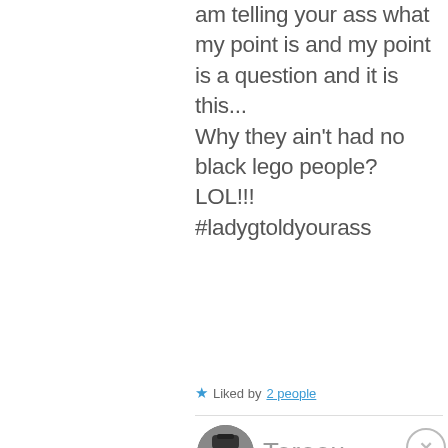am telling your ass what my point is and my point is a question and it is this...
Why they ain't had no black lego people?
LOL!!!
#ladygtoldyourass
★ Liked by 2 people
[Figure (photo): User avatar photo of a person wearing a cap]
Toreou
Advertisements
[Figure (infographic): Advertisement banner: Turn your blog into a money-making online course.]